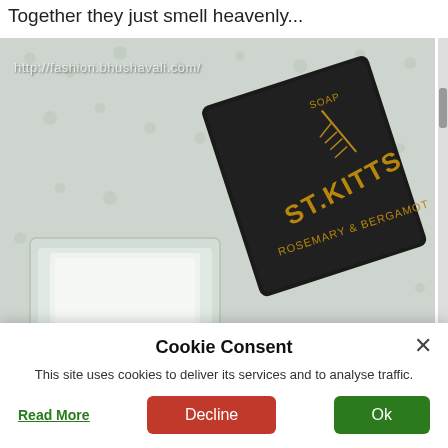Together they just smell heavenly...
[Figure (photo): Photo of a St. Kitts Rosemary & Bergamot soap bar in black packaging next to a clear plastic soap dish, placed on a white fluffy towel. Watermark reads: http://fashion.bhushavali.com/]
Cookie Consent
This site uses cookies to deliver its services and to analyse traffic.
Read More
Decline
Ok
much and that's ok. The skin feels clean and well